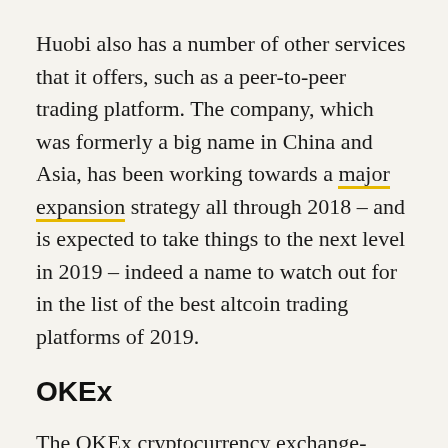Huobi also has a number of other services that it offers, such as a peer-to-peer trading platform. The company, which was formerly a big name in China and Asia, has been working towards a major expansion strategy all through 2018 – and is expected to take things to the next level in 2019 – indeed a name to watch out for in the list of the best altcoin trading platforms of 2019.
OKEx
The OKEx cryptocurrency exchange- along with Binance and Huobi- has been among the top three exchanges for quite some time